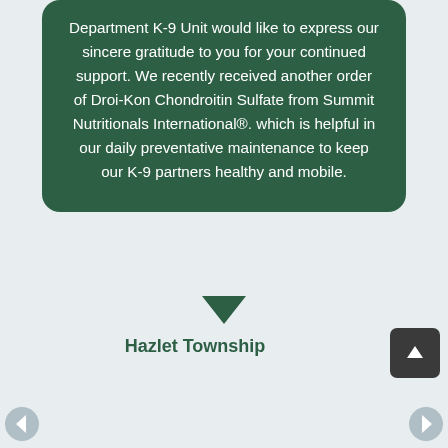Department K-9 Unit would like to express our sincere gratitude to you for your continued support. We recently received another order of Droi-Kon Chondroitin Sulfate from Summit Nutritionals International®. which is helpful in our daily preventative maintenance to keep our K-9 partners healthy and mobile.
Hazlet Township